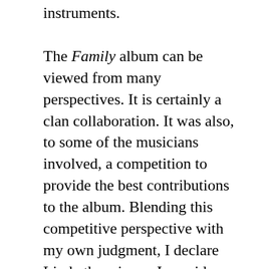instruments.
The Family album can be viewed from many perspectives. It is certainly a clan collaboration. It was also, to some of the musicians involved, a competition to provide the best contributions to the album. Blending this competitive perspective with my own judgment, I declare Linda the winner. I consider “her” two tracks the two best tracks on Family; that’s why I included both in the playlist.
Here’s my own perspective on the Thompson Family. Richard Thompson is my favorite musician, and probably always will be. I Want to See the Bright Lights Tonight is my favorite album, and probably always will be. I am (to put